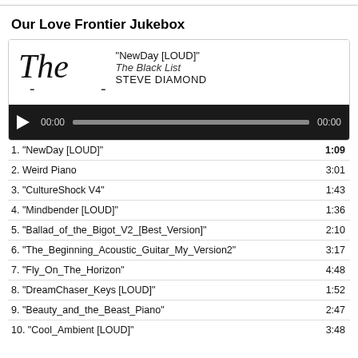Our Love Frontier Jukebox
[Figure (other): Music player widget showing album art text 'The', track info: "NewDay [LOUD]", The Black List, STEVE DIAMOND, with audio progress bar controls showing 00:00 / 00:00]
1. "NewDay [LOUD]" 1:09
2. Weird Piano 3:01
3. "CultureShock V4" 1:43
4. "Mindbender [LOUD]" 1:36
5. "Ballad_of_the_Bigot_V2_[Best_Version]" 2:10
6. "The_Beginning_Acoustic_Guitar_My_Version2" 3:17
7. "Fly_On_The_Horizon" 4:48
8. "DreamChaser_Keys [LOUD]" 1:52
9. "Beauty_and_the_Beast_Piano" 2:47
10. "Cool_Ambient [LOUD]" 3:48